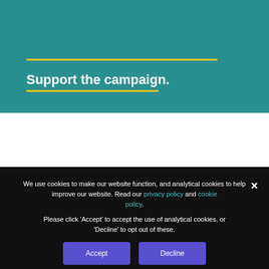Support the campaign.
We use cookies to make our website function, and analytical cookies to help improve our website. Read our privacy policy and cookie policy.
Please click 'Accept' to accept the use of analytical cookies, or 'Decline' to opt out of these.